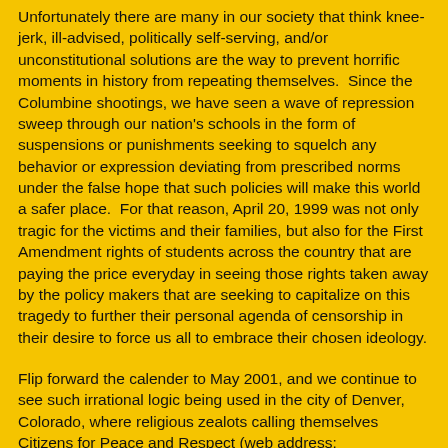Unfortunately there are many in our society that think knee-jerk, ill-advised, politically self-serving, and/or unconstitutional solutions are the way to prevent horrific moments in history from repeating themselves.  Since the Columbine shootings, we have seen a wave of repression sweep through our nation's schools in the form of suspensions or punishments seeking to squelch any behavior or expression deviating from prescribed norms under the false hope that such policies will make this world a safer place.  For that reason, April 20, 1999 was not only tragic for the victims and their families, but also for the First Amendment rights of students across the country that are paying the price everyday in seeing those rights taken away by the policy makers that are seeking to capitalize on this tragedy to further their personal agenda of censorship in their desire to force us all to embrace their chosen ideology.
Flip forward the calender to May 2001, and we continue to see such irrational logic being used in the city of Denver, Colorado, where religious zealots calling themselves Citizens for Peace and Respect (web address:  https://www.nomanson.org), led by local Pastor Jason Janz, are seeking the cancellation of Marilyn Manson's appearance as part of the OzzFest 2001 tour on June 21st in their city.  Their reasoning basically boils down to 1) Marilyn Manson sings lyrics they find offensive or troubling, and 2) the Columbine tragedy happened in the Denver area, so 3) Marilyn Manson should be to blame for some Marilyn Janz...